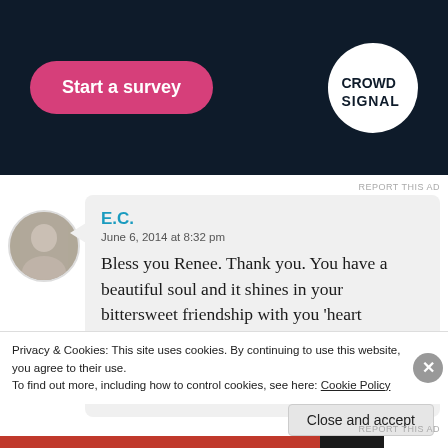[Figure (screenshot): Ad banner with 'Start a survey' pink button and Crowdsignal logo on dark navy background]
REPORT THIS AD
[Figure (photo): User avatar - small circular profile photo of a person]
E.C.
June 6, 2014 at 8:32 pm

Bless you Renee. Thank you. You have a beautiful soul and it shines in your bittersweet friendship with you ‘heart brother’. This is a wonderful tribute to the brave soldiers who sacrificed so much for us. I salute
Privacy & Cookies: This site uses cookies. By continuing to use this website, you agree to their use.
To find out more, including how to control cookies, see here: Cookie Policy
Close and accept